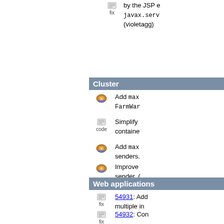by the JSP e... javax.serv... (violetagg)
Cluster
Add max... FarmWar...
Simplify... containe...
Add max... senders.
Improve... sender. (...
Add rem... TcpFailu...
Web applications
54931: Add multiple in...
54932: Con...
Add docu... (kfujing)